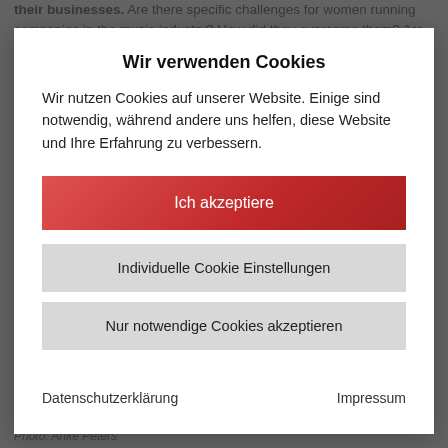running companies in the music industry? How did they overcome them? Are there differences between France and Germany?
After the panel, we'll offer speed meetings to give women* from Germany  get to know each other.
Desiree Vach, chair of the VDT board/ founder of Snowhite Records, GER
[Figure (photo): Photo of a person, partially visible behind modal overlay]
Photo: Anke Peters
Wir verwenden Cookies
Wir nutzen Cookies auf unserer Website. Einige sind notwendig, während andere uns helfen, diese Website und Ihre Erfahrung zu verbessern.
Ich akzeptiere
Individuelle Cookie Einstellungen
Nur notwendige Cookies akzeptieren
Datenschutzerklärung
Impressum